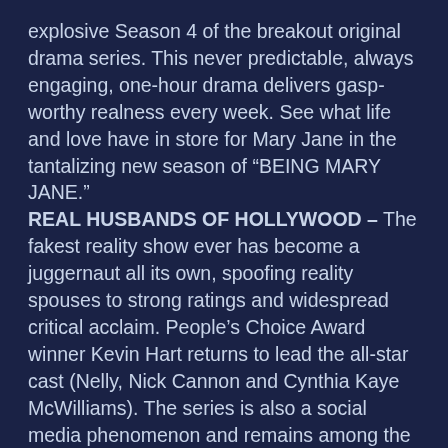explosive Season 4 of the breakout original drama series. This never predictable, always engaging, one-hour drama delivers gasp-worthy realness every week. See what life and love have in store for Mary Jane in the tantalizing new season of “BEING MARY JANE.”
REAL HUSBANDS OF HOLLYWOOD – The fakest reality show ever has become a juggernaut all its own, spoofing reality spouses to strong ratings and widespread critical acclaim. People’s Choice Award winner Kevin Hart returns to lead the all-star cast (Nelly, Nick Cannon and Cynthia Kaye McWilliams). The series is also a social media phenomenon and remains among the most tweeted comedy series in all of cable TV. A brand new season of “REAL HUSBANDS OF HOLLYWOOD” will provide more appointment television full of hysterical situations between the husbands and their